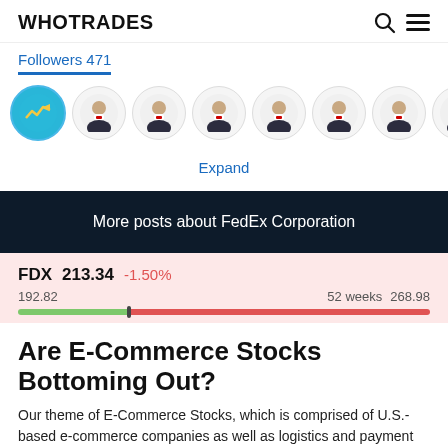WHOTRADES
Followers 471
[Figure (illustration): Row of follower avatar circles - one brand avatar (green/teal circle with chart icon) and seven default user profile icons]
Expand
More posts about FedEx Corporation
FDX  213.34  -1.50%
192.82   52 weeks  268.98
Are E-Commerce Stocks Bottoming Out?
Our theme of E-Commerce Stocks, which is comprised of U.S.-based e-commerce companies as well as logistics and payment players, has declined by almost 41% year-to-date, considerably underperforming...